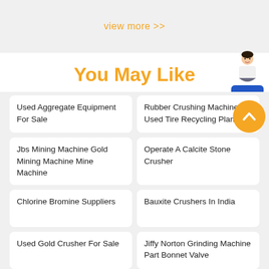view more >>
You May Like
Used Aggregate Equipment For Sale
Rubber Crushing Machine Used Tire Recycling Plant
Jbs Mining Machine Gold Mining Machine Mine Machine
Operate A Calcite Stone Crusher
Chlorine Bromine Suppliers
Bauxite Crushers In India
Used Gold Crusher For Sale
Jiffy Norton Grinding Machine Part Bonnet Valve